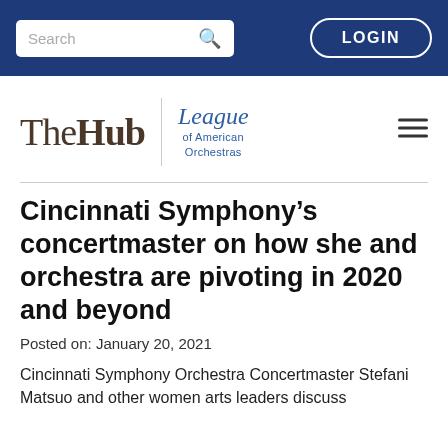Search  LOGIN
[Figure (logo): The Hub | League of American Orchestras logo with hamburger menu]
Cincinnati Symphony’s concertmaster on how she and orchestra are pivoting in 2020 and beyond
Posted on: January 20, 2021
Cincinnati Symphony Orchestra Concertmaster Stefani Matsuo and other women arts leaders discuss